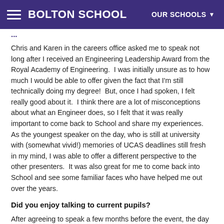BOLTON SCHOOL | OUR SCHOOLS
...
Chris and Karen in the careers office asked me to speak not long after I received an Engineering Leadership Award from the Royal Academy of Engineering.  I was initially unsure as to how much I would be able to offer given the fact that I'm still technically doing my degree!  But, once I had spoken, I felt really good about it.  I think there are a lot of misconceptions about what an Engineer does, so I felt that it was really important to come back to School and share my experiences.  As the youngest speaker on the day, who is still at university with (somewhat vivid!) memories of UCAS deadlines still fresh in my mind, I was able to offer a different perspective to the other presenters.  It was also great for me to come back into School and see some familiar faces who have helped me out over the years.
Did you enjoy talking to current pupils?
After agreeing to speak a few months before the event, the day soon came around.  Initially, I was filled with dread at the prospect of speaking in front of sixty teenagers … That said,